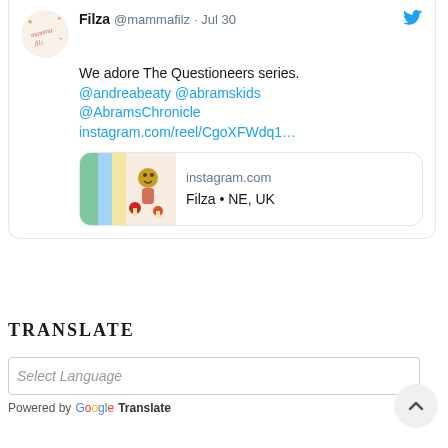[Figure (screenshot): Tweet card from Filza @mammafilz dated Jul 30. Text: 'We adore The Questioneers series. @andreabeaty @abramskids @AbramsChronicle instagram.com/reel/CgoXFWdq1...' with an Instagram link preview showing 'instagram.com' and 'Filza • NE, UK']
TRANSLATE
Select Language
Powered by Google Translate